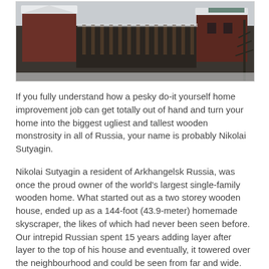[Figure (photo): Snow-covered wooden buildings/rooftops in a winter scene, dark background with snow on roofs]
If you fully understand how a pesky do-it yourself home improvement job can get totally out of hand and turn your home into the biggest ugliest and tallest wooden monstrosity in all of Russia, your name is probably Nikolai Sutyagin.
Nikolai Sutyagin a resident of Arkhangelsk Russia, was once the proud owner of the world’s largest single-family wooden home. What started out as a two storey wooden house, ended up as a 144-foot (43.9-meter) homemade skyscraper, the likes of which had never been seen before. Our intrepid Russian spent 15 years adding layer after layer to the top of his house and eventually, it towered over the neighbourhood and could be seen from far and wide.
While local building code in Arkhangelsk stipulates that no wooden structure can be higher than two floors, Nikolai wasn’t to be deterred as he had a cunning plan to thwart